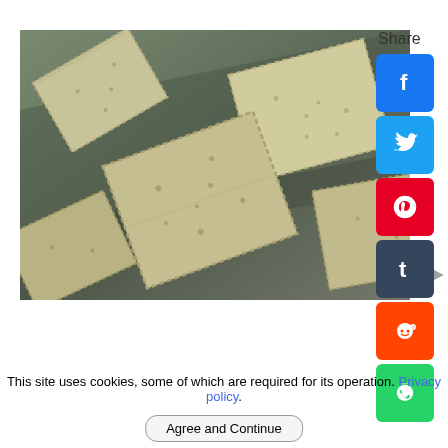[Figure (photo): Close-up photo of diamond-shaped herb crackers/biscuits with crimped edges on parchment paper, viewed from above at an angle. Crackers appear greenish-beige in color with small holes and herbs visible.]
Share
This site uses cookies, some of which are required for its operation. Privacy policy.
Agree and Continue